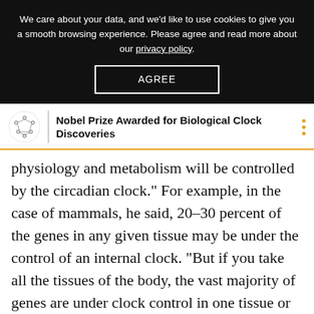We care about your data, and we'd like to use cookies to give you a smooth browsing experience. Please agree and read more about our privacy policy.
AGREE
Nobel Prize Awarded for Biological Clock Discoveries
physiology and metabolism will be controlled by the circadian clock.” For example, in the case of mammals, he said, 20–30 percent of the genes in any given tissue may be under the control of an internal clock. “But if you take all the tissues of the body, the vast majority of genes are under clock control in one tissue or another.”
Josephine Arendt, an emeritus professor